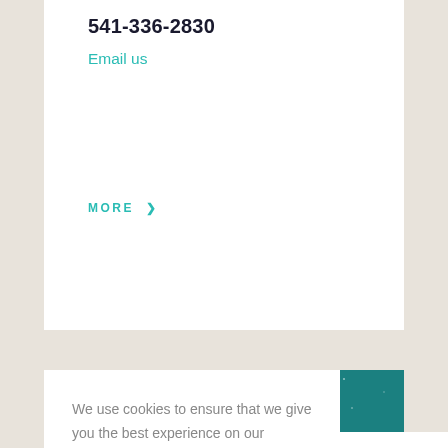541-336-2830
Email us
MORE >
[Figure (illustration): Teal/dark teal background with white speckles resembling stars, and a white line-art illustration of mountains and a cat or animal silhouette outline]
We use cookies to ensure that we give you the best experience on our website. If you continue to use this site we will assume that you are happy with it.
OK